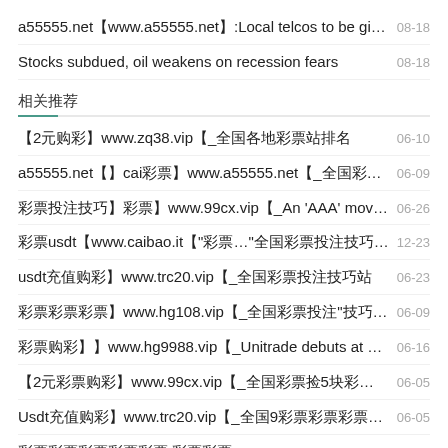a55555.net（www.a55555.net）:Local telcos to be gi... 08-18
Stocks subdued, oil weakens on recession fears 08-18
相关推荐
【2元购彩】www.zq38.vip（_全国各地彩票站排名 06-10
a55555.net【】cai彩票】www.a55555.net（_全国彩票】'chan'购... 06-09
彩票投注技巧】彩票】www.99cx.vip（_An ‘AAA’ move? 06-26
彩票usdt【www.caibao.it（“彩票...”全国彩票投注技巧... 12-23
usdt充唃购彩】www.trc20.vip（_全国彩票投注技巧站 06-23
彩票彩票彩票】www.hg108.vip（_全国彩票投注“技巧”】 06-09
彩票购彩】】www.hg9988.vip（_Unitrade debuts at 26.5 s... 06-16
【2元彩票购彩】www.99cx.vip（_全国彩票推5块彩票购彩站 06-05
Usdt充唃购彩】www.trc20.vip（_全国9彩票彩票彩票彩票投注 06-05
彩票彩票彩票彩票彩票 彩票彩票 04-22